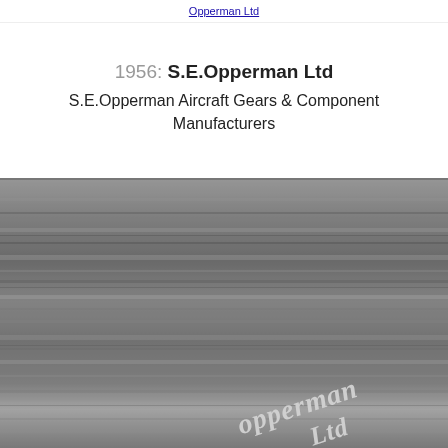1956: S.E.Opperman Ltd
S.E.Opperman Aircraft Gears & Component Manufacturers
[Figure (photo): Black and white photograph showing a textured surface (possibly metal or wood grain) with a cursive white script signature/logo reading 'Opperman Ltd' in the lower right area.]